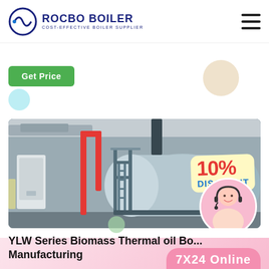ROCBO BOILER - COST-EFFECTIVE BOILER SUPPLIER
Get Price
[Figure (photo): Industrial boiler (YLW Series Biomass Thermal oil Boiler) in a factory setting with red pipes, blue-grey tank, steel scaffolding, and a 10% Discount badge overlaid. A customer service agent is shown in the bottom right corner.]
YLW Series Biomass Thermal oil Bo... Manufacturing
7X24 Online